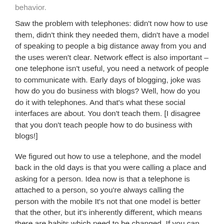behavior.
Saw the problem with telephones: didn't now how to use them, didn't think they needed them, didn't have a model of speaking to people a big distance away from you and the uses weren't clear. Network effect is also important – one telephone isn't useful, you need a network of people to communicate with. Early days of blogging, joke was how do you do business with blogs? Well, how do you do it with telephones. And that's what these social interfaces are about. You don't teach them. [I disagree that you don't teach people how to do business with blogs!]
We figured out how to use a telephone, and the model back in the old days is that you were calling a place and asking for a person. Idea now is that a telephone is attached to a person, so you're always calling the person with the mobile It's not that one model is better that the other, but it's inherently different, which means there are habits which need to be changed. If you can be reached at any time, you need to either let that